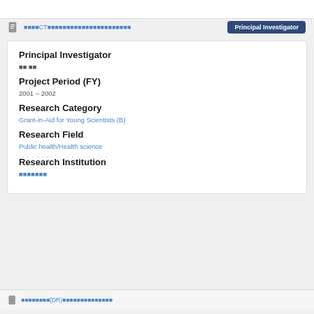[Japanese text] CT[Japanese text] | Principal Investigator
Principal Investigator
[Japanese characters]
Project Period (FY)
2001 – 2002
Research Category
Grant-in-Aid for Young Scientists (B)
Research Field
Public health/Health science
Research Institution
[Japanese characters]
[Japanese text](DR)[Japanese text]